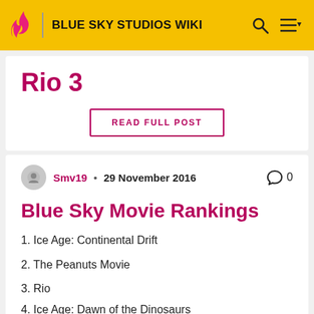BLUE SKY STUDIOS WIKI
Rio 3
READ FULL POST
Smv19 • 29 November 2016  0
Blue Sky Movie Rankings
1. Ice Age: Continental Drift
2. The Peanuts Movie
3. Rio
4. Ice Age: Dawn of the Dinosaurs